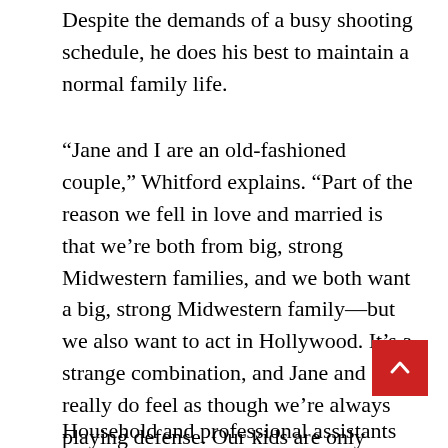Despite the demands of a busy shooting schedule, he does his best to maintain a normal family life.
“Jane and I are an old-fashioned couple,” Whitford explains. “Part of the reason we fell in love and married is that we’re both from big, strong Midwestern families, and we both want a big, strong Midwestern family—but we also want to act in Hollywood. It’s a strange combination, and Jane and I really do feel as though we’re always playing defense. Our kids are only going to be young once. And I know I won’t be lying on my deathbed wishing I’d done another TV show, but I might be wishing I’d spent more time with them.”
Household and professional assistants help free up